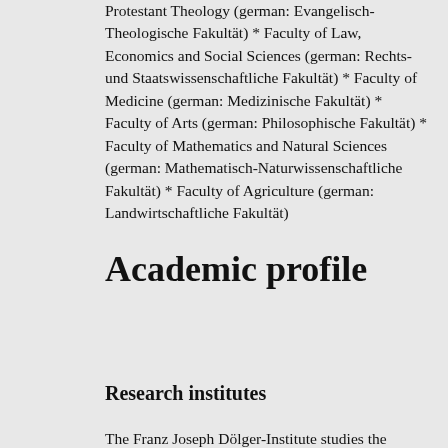Protestant Theology (german: Evangelisch-Theologische Fakultät) * Faculty of Law, Economics and Social Sciences (german: Rechts- und Staatswissenschaftliche Fakultät) * Faculty of Medicine (german: Medizinische Fakultät) * Faculty of Arts (german: Philosophische Fakultät) * Faculty of Mathematics and Natural Sciences (german: Mathematisch-Naturwissenschaftliche Fakultät) * Faculty of Agriculture (german: Landwirtschaftliche Fakultät)
Academic profile
Research institutes
The Franz Joseph Dölger-Institute studies the